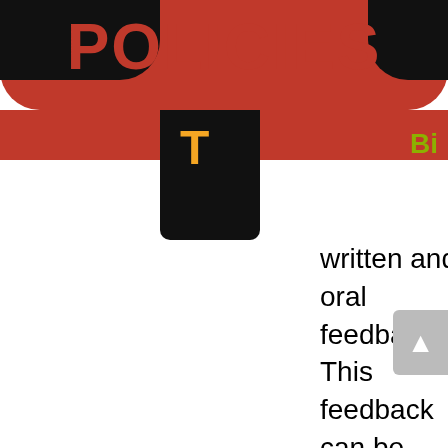POLICIES
written and oral feedback. This feedback can be informal or formal, including Commendations, discretionary